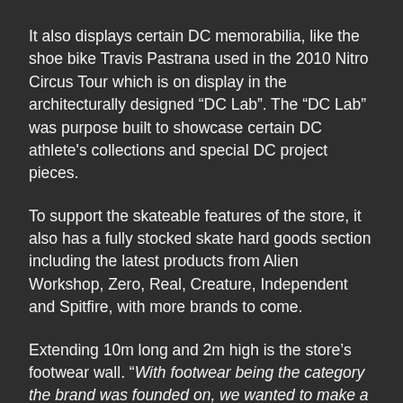It also displays certain DC memorabilia, like the shoe bike Travis Pastrana used in the 2010 Nitro Circus Tour which is on display in the architecturally designed “DC Lab”. The “DC Lab” was purpose built to showcase certain DC athlete's collections and special DC project pieces.
To support the skateable features of the store, it also has a fully stocked skate hard goods section including the latest products from Alien Workshop, Zero, Real, Creature, Independent and Spitfire, with more brands to come.
Extending 10m long and 2m high is the store’s footwear wall. “With footwear being the category the brand was founded on, we wanted to make a powerful statement about the quality and depth of our range. We believe we have achieved this” said Hawkins.